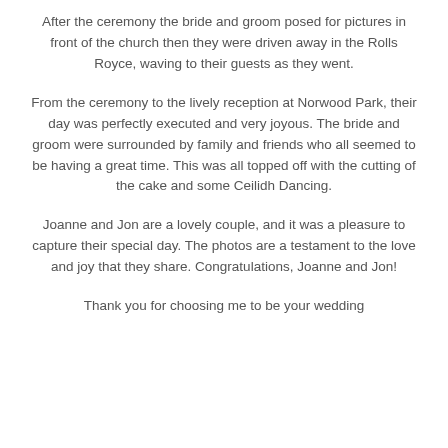After the ceremony the bride and groom posed for pictures in front of the church then they were driven away in the Rolls Royce, waving to their guests as they went.
From the ceremony to the lively reception at Norwood Park, their day was perfectly executed and very joyous. The bride and groom were surrounded by family and friends who all seemed to be having a great time. This was all topped off with the cutting of the cake and some Ceilidh Dancing.
Joanne and Jon are a lovely couple, and it was a pleasure to capture their special day. The photos are a testament to the love and joy that they share. Congratulations, Joanne and Jon!
Thank you for choosing me to be your wedding